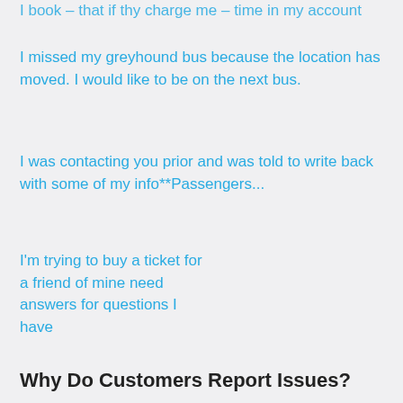I book – that if thy charge me – time in my account
I missed my greyhound bus because the location has moved. I would like to be on the next bus.
I was contacting you prior and was told to write back with some of my info**Passengers...
I'm trying to buy a ticket for a friend of mine need answers for questions I have
Why Do Customers Report Issues?